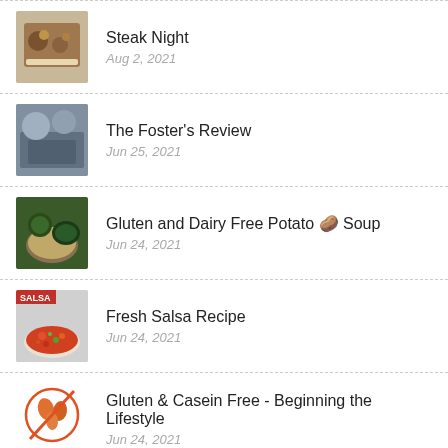Steak Night | Aug 2, 2021
The Foster's Review | Jun 25, 2021
Gluten and Dairy Free Potato 🥔 Soup | Jun 24, 2021
Fresh Salsa Recipe | Jun 24, 2021
Gluten & Casein Free - Beginning the Lifestyle | Jun 24, 2021